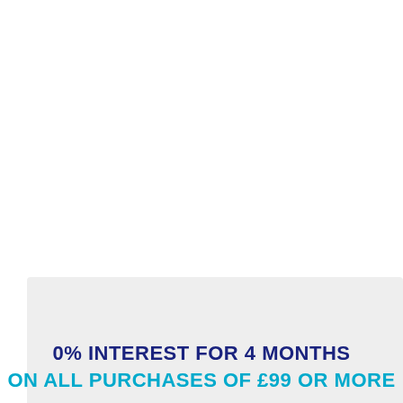0% INTEREST FOR 4 MONTHS ON ALL PURCHASES OF £99 OR MORE